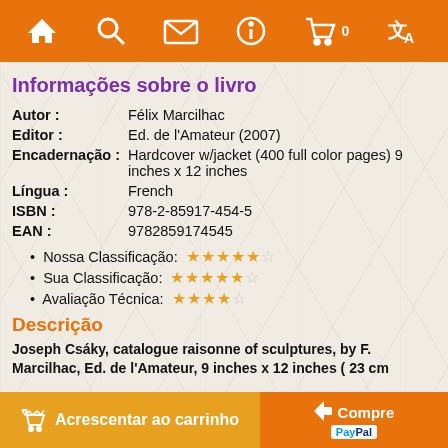Navigation bar with home, search, mail, info, cart (0), translate icons
Informações sobre o livro
| Label | Value |
| --- | --- |
| Autor : | Félix Marcilhac |
| Editor : | Ed. de l'Amateur (2007) |
| Encadernação : | Hardcover w/jacket (400 full color pages) 9 inches x 12 inches |
| Língua : | French |
| ISBN : | 978-2-85917-454-5 |
| EAN : | 9782859174545 |
Nossa Classificação: ★★★★★☆
Sua Classificação: ★★★★★☆
Avaliação Técnica: ★★★★☆☆
Descrição
Joseph Csáky, catalogue raisonne of sculptures, by F. Marcilhac, Ed. de l'Amateur, 9 inches x 12 inches ( 23 cm
Acrescentar ao carrinho | Compre | PayPal